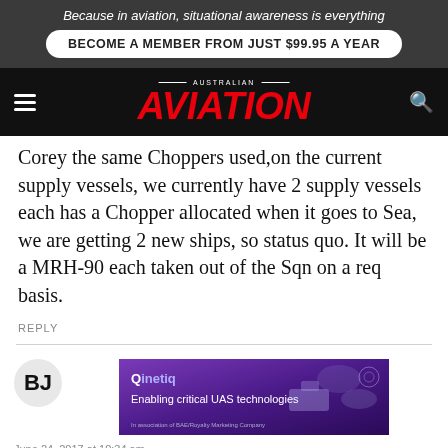Because in aviation, situational awareness is everything
BECOME A MEMBER FROM JUST $99.95 A YEAR
AUSTRALIAN AVIATION
Corey the same Choppers used,on the current supply vessels, we currently have 2 supply vessels each has a Chopper allocated when it goes to Sea, we are getting 2 new ships, so status quo. It will be a MRH-90 each taken out of the Sqn on a req basis.
REPLY
[Figure (infographic): QinetiQ advertisement: purple gradient background with text 'QinetiQ - Enabling critical UAS technologies' and abstract graphic of unmanned vessels/drones on the right side]
June 24, 2017 at 10:34 am